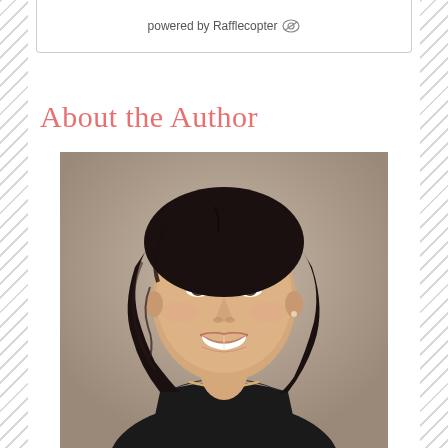powered by Rafflecopter
About the Author
[Figure (photo): Portrait photo of a smiling woman with dark wavy hair, wearing a black halter top, against a neutral beige background.]